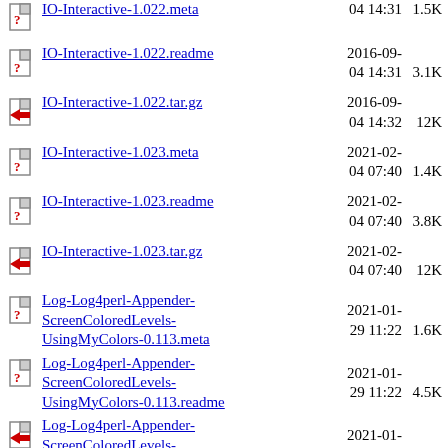IO-Interactive-1.022.meta  2016-09-04 14:31  1.5K
IO-Interactive-1.022.readme  2016-09-04 14:31  3.1K
IO-Interactive-1.022.tar.gz  2016-09-04 14:32  12K
IO-Interactive-1.023.meta  2021-02-04 07:40  1.4K
IO-Interactive-1.023.readme  2021-02-04 07:40  3.8K
IO-Interactive-1.023.tar.gz  2021-02-04 07:40  12K
Log-Log4perl-Appender-ScreenColoredLevels-UsingMyColors-0.113.meta  2021-01-29 11:22  1.6K
Log-Log4perl-Appender-ScreenColoredLevels-UsingMyColors-0.113.readme  2021-01-29 11:22  4.5K
Log-Log4perl-Appender-ScreenColoredLevels-UsingMyColors-0.113.tar.gz  2021-01-29 11:24  8.9K
Log-Log4perl-Appender-ScreenColoredLevels-UsingMyColors-0.114.meta  2022-01-09 11:27  1.6K